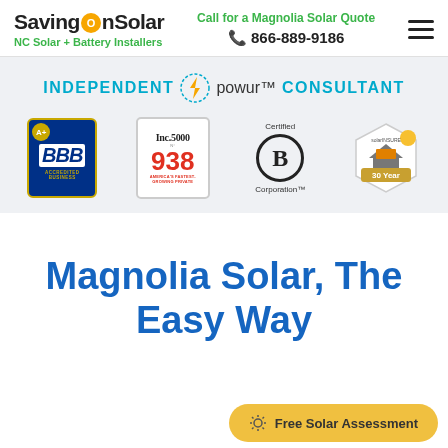SavingOnSolar | NC Solar + Battery Installers | Call for a Magnolia Solar Quote | 866-889-9186
[Figure (infographic): INDEPENDENT POWUR CONSULTANT banner with lightning bolt icon, followed by four trust badges: BBB A+ Accredited Business, Inc. 5000 #938, Certified B Corporation, and SolarINSURE 30 Year Extended Warranty]
Magnolia Solar, The Easy Way
[Figure (other): Free Solar Assessment yellow pill-shaped CTA button with gear/sun icon]